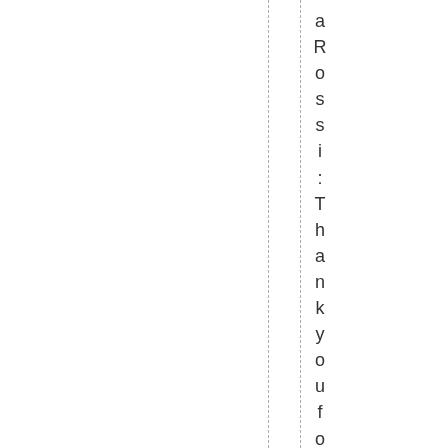aRossi:Thankyouforthemodelfort